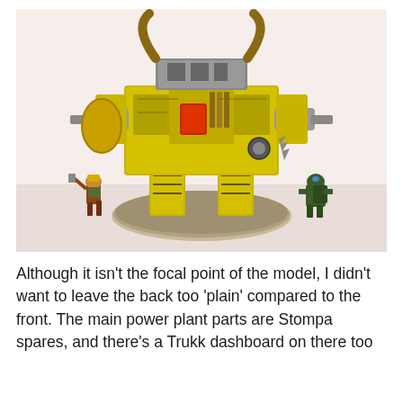[Figure (photo): A large painted Warhammer 40K Ork Stompa model (yellow with black and brown details, large horns on top, bulky body on legs, a round base) flanked by two smaller Ork miniatures on a white surface.]
Although it isn't the focal point of the model, I didn't want to leave the back too 'plain' compared to the front. The main power plant parts are Stompa spares, and there's a Trukk dashboard on there too